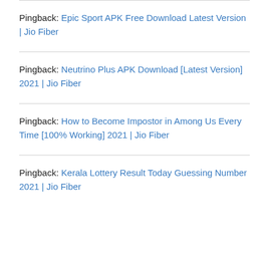Pingback: Epic Sport APK Free Download Latest Version | Jio Fiber
Pingback: Neutrino Plus APK Download [Latest Version] 2021 | Jio Fiber
Pingback: How to Become Impostor in Among Us Every Time [100% Working] 2021 | Jio Fiber
Pingback: Kerala Lottery Result Today Guessing Number 2021 | Jio Fiber